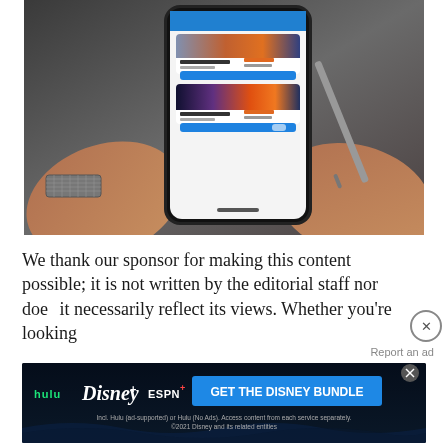[Figure (photo): Hands holding a smartphone displaying a travel booking app with hotel listings including images of cities (possibly Berlin and London bridge at sunset), prices, and blue booking buttons]
We thank our sponsor for making this content possible; it is not written by the editorial staff nor does it necessarily reflect its views. Whether you're looking
[Figure (screenshot): Advertisement banner for Disney Bundle showing Hulu, Disney+, and ESPN+ logos with a 'GET THE DISNEY BUNDLE' call-to-action button and fine print: 'Incl. Hulu (ad-supported) or Hulu (No Ads). Access content from each service separately. ©2021 Disney and its related entities']